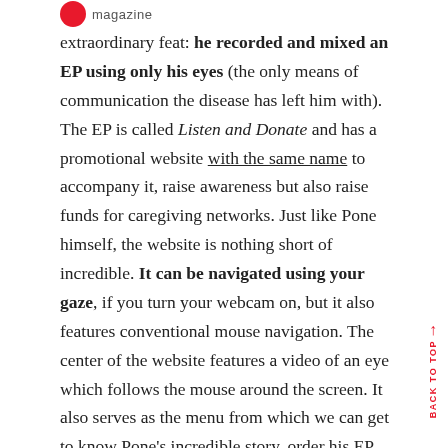magazine
extraordinary feat: he recorded and mixed an EP using only his eyes (the only means of communication the disease has left him with). The EP is called Listen and Donate and has a promotional website with the same name to accompany it, raise awareness but also raise funds for caregiving networks. Just like Pone himself, the website is nothing short of incredible. It can be navigated using your gaze, if you turn your webcam on, but it also features conventional mouse navigation. The center of the website features a video of an eye which follows the mouse around the screen. It also serves as the menu from which we can get to know Pone's incredible story, order his EP and make a donation to Trakadom, the charity that finances caregiver training programmes.